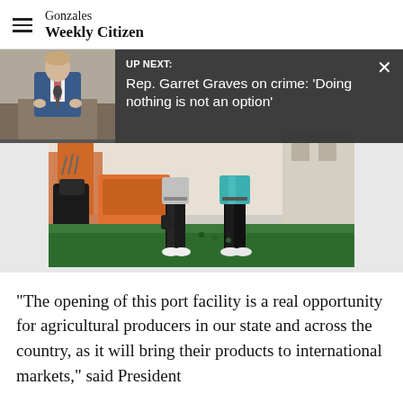Gonzales Weekly Citizen
[Figure (screenshot): Up Next overlay banner showing a man in a suit at a podium (Rep. Garret Graves), with text 'UP NEXT: Rep. Garret Graves on crime: Doing nothing is not an option']
[Figure (photo): Two golfers standing on a golf practice range/turf area with golf bags and equipment in background]
"The opening of this port facility is a real opportunity for agricultural producers in our state and across the country, as it will bring their products to international markets," said President